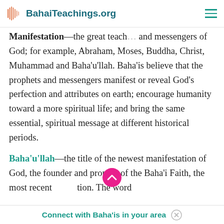BahaiTeachings.org
Manifestation—the great teachers and messengers of God; for example, Abraham, Moses, Buddha, Christ, Muhammad and Baha’u’llah. Baha’is believe that the prophets and messengers manifest or reveal God’s perfection and attributes on earth; encourage humanity toward a more spiritual life; and bring the same essential, spiritual message at different historical periods.
Baha’u’llah—the title of the newest manifestation of God, the founder and prophet of the Baha’i Faith, the most recent… tion. The word
Connect with Baha’is in your area